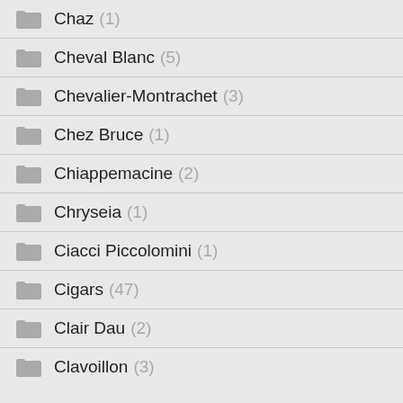Chaz (1)
Cheval Blanc (5)
Chevalier-Montrachet (3)
Chez Bruce (1)
Chiappemacine (2)
Chryseia (1)
Ciacci Piccolomini (1)
Cigars (47)
Clair Dau (2)
Clavoillon (3)